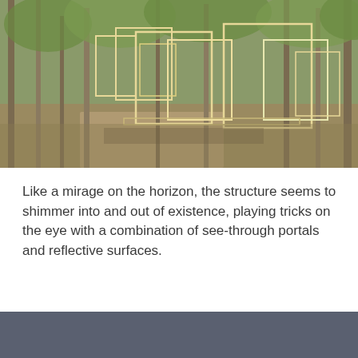[Figure (photo): Outdoor art installation in a park with birch trees. Multiple rectangular golden/white frames of varying sizes are arranged among the trees, creating a see-through portal and reflective surface effect. The ground is grassy and dirt-patched. The scene is photographed in daylight with autumn foliage.]
Like a mirage on the horizon, the structure seems to shimmer into and out of existence, playing tricks on the eye with a combination of see-through portals and reflective surfaces.
[Figure (photo): Bottom portion of a dark gray/slate colored surface, partially visible at the bottom of the page.]